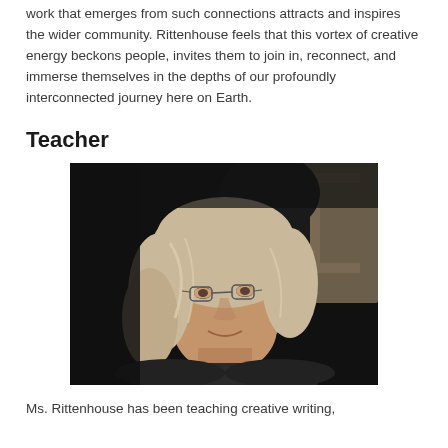work that emerges from such connections attracts and inspires the wider community. Rittenhouse feels that this vortex of creative energy beckons people, invites them to join in, reconnect, and immerse themselves in the depths of our profoundly interconnected journey here on Earth.
Teacher
[Figure (photo): Portrait photograph of Ms. Rittenhouse, an older woman with shoulder-length gray-blonde wavy hair and glasses, looking slightly upward and to the side, against a dark background with a stone or textured surface visible.]
Ms. Rittenhouse has been teaching creative writing,